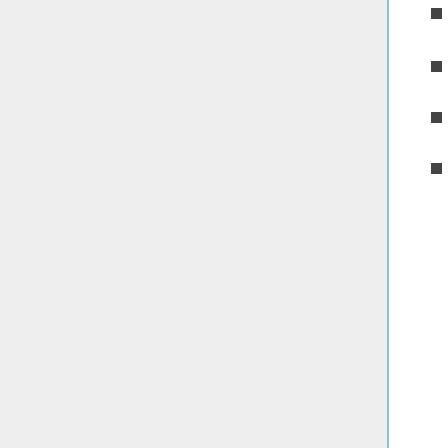2  Logistics
3  Maps
4  Geological background
5  Excursion details
5.1  Locality 1, West Rigg Quarries [NY 911 392], an S.S.S.I.
5.2  Locality 2, Lintzgarth [NY 925 429]
5.3  Locality 3, Rookhope village [NY 937 428]
5.4  Locality 4, Groverake Mine [NY 896 442]
5.5  Locality 5, Allenheads village [NY 860 453]
5.6  Locality 6, Killhope Lead Mining Centre [NY 826 430]
5.7  Locality 7, Old Moss [NY ...]